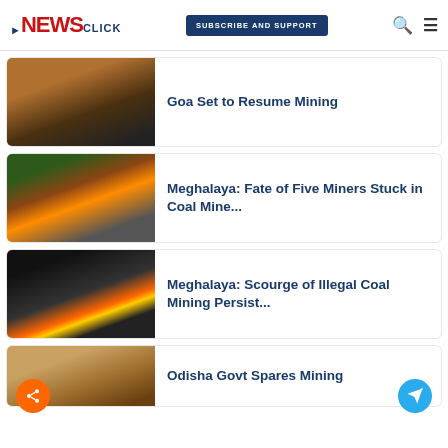NewsClick — SUBSCRIBE AND SUPPORT
[Figure (photo): Open-pit mining operation with heavy trucks on terraced earth]
Goa Set to Resume Mining
[Figure (photo): Rescue workers in orange vests at a coal mine site with scaffolding]
Meghalaya: Fate of Five Miners Stuck in Coal Mine...
[Figure (photo): Excavator and dump truck working in a coal mining site]
Meghalaya: Scourge of Illegal Coal Mining Persist...
[Figure (photo): Sandy/rocky mining terrain partially visible]
Odisha Govt Spares Mining...